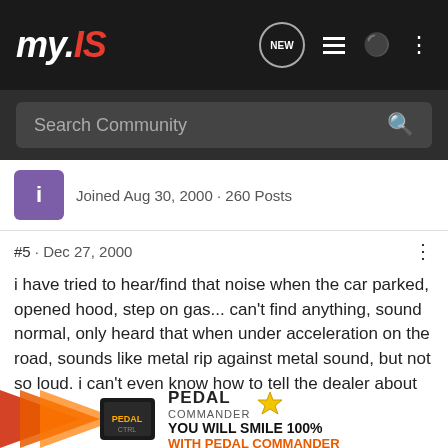my.IS
Search Community
Joined Aug 30, 2000 · 260 Posts
#5 · Dec 27, 2000
i have tried to hear/find that noise when the car parked, opened hood, step on gas... can't find anything, sound normal, only heard that when under acceleration on the road, sounds like metal rip against metal sound, but not so loud. i can't even know how to tell the dealer about this when the 5,000miles service comes.. besides this, there is a rattle noise from the front passenger side everytime on the rough road at this cold weather(radio off).
do anyone have this rattle noise from the passenger side on rough ro...
[Figure (advertisement): Pedal Commander advertisement banner with orange arrow graphic, device image, brand logo with star, and tagline: YOU WILL SMILE 100% WITH PEDAL COMMANDER]